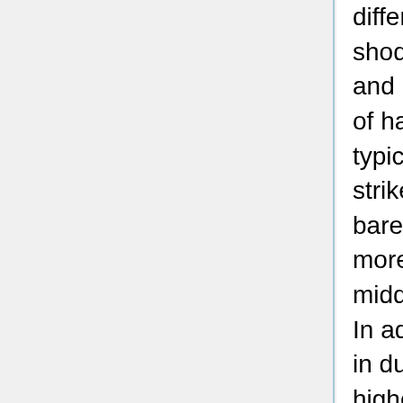differences between habitually shod runners (wearing shoes) and barefoot runners. The foot of habitually shod runners typically lands with an initial heel strike, while the foot of a barefoot runner lands with a more springy step on the middle, or on the ball of the foot. In addition, the strike is shorter in duration and the step rate is higher. When looking at the muscle activity (electromyography), studies have shown a higher pre-activation of the plantar flexor muscles when running barefoot. Indeed, since muscles' role is to prepare the locomotor system for the contact with the ground, muscle activity before the strike depends on the expected impact. Forefoot strike, shorter step duration, higher rate and higher muscle pre-activation are techniques to reduce stress of repetitive high shocks. This